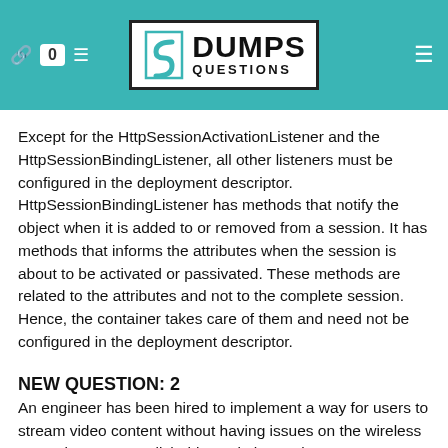DUMPS QUESTIONS
Except for the HttpSessionActivationListener and the HttpSessionBindingListener, all other listeners must be configured in the deployment descriptor. HttpSessionBindingListener has methods that notify the object when it is added to or removed from a session. It has methods that informs the attributes when the session is about to be activated or passivated. These methods are related to the attributes and not to the complete session. Hence, the container takes care of them and need not be configured in the deployment descriptor.
NEW QUESTION: 2
An engineer has been hired to implement a way for users to stream video content without having issues on the wireless network. To accomplish this goal, the engineer must set up a reliable way for a Media Stream to work between Cisco...